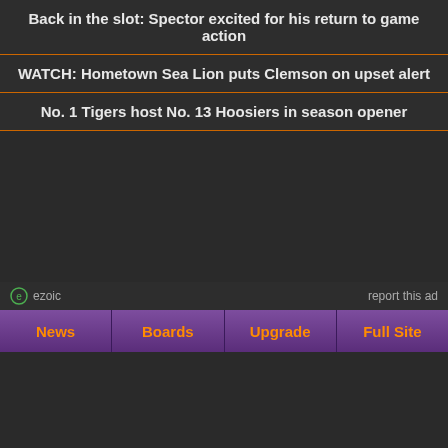Back in the slot: Spector excited for his return to game action
WATCH: Hometown Sea Lion puts Clemson on upset alert
No. 1 Tigers host No. 13 Hoosiers in season opener
[Figure (other): Ezoic ad placeholder area with ezoic logo and report this ad link]
News | Boards | Upgrade | Full Site